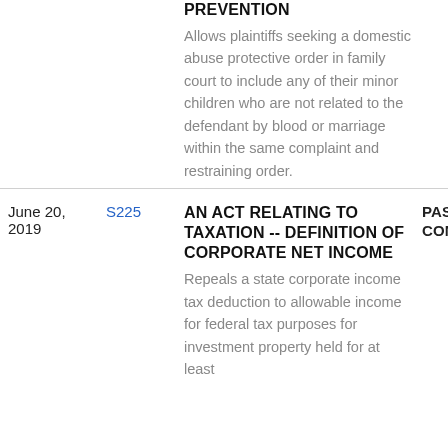| Date | Bill | Title / Description | Status |
| --- | --- | --- | --- |
|  |  | PREVENTION
Allows plaintiffs seeking a domestic abuse protective order in family court to include any of their minor children who are not related to the defendant by blood or marriage within the same complaint and restraining order. |  |
| June 20, 2019 | S225 | AN ACT RELATING TO TAXATION -- DEFINITION OF CORPORATE NET INCOME
Repeals a state corporate income tax deduction to allowable income for federal tax purposes for investment property held for at least | PASSAGE CONCU... |